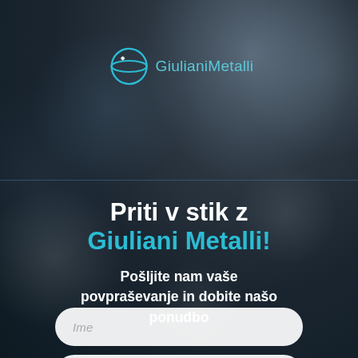[Figure (logo): Giuliani Metalli logo with globe/ring graphic in blue and the text 'GiulianiMetalli' in teal/cyan]
Priti v stik z Giuliani Metalli!
Pošljite nam vaše povpraševanje in dobite našo ponudbo
Ime
Priimek